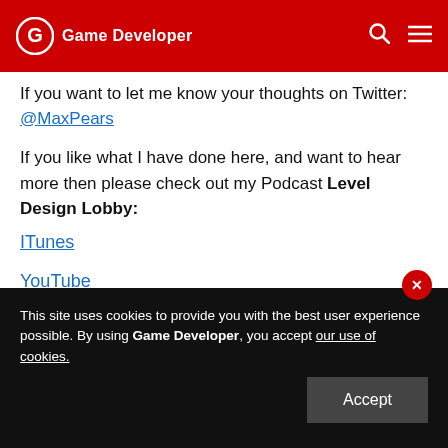Game Developer
If you want to let me know your thoughts on Twitter: @MaxPears
If you like what I have done here, and want to hear more then please check out my Podcast Level Design Lobby:
ITunes
YouTube
SoundCloud
This site uses cookies to provide you with the best user experience possible. By using Game Developer, you accept our use of cookies.